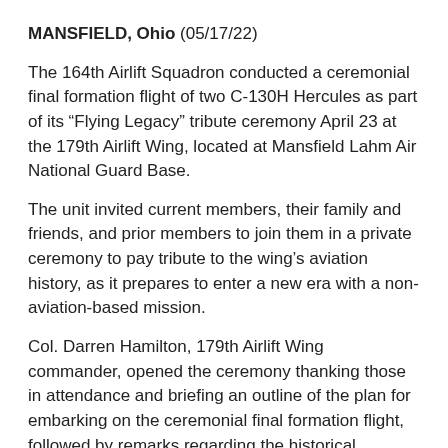MANSFIELD, Ohio (05/17/22)
The 164th Airlift Squadron conducted a ceremonial final formation flight of two C-130H Hercules as part of its “Flying Legacy” tribute ceremony April 23 at the 179th Airlift Wing, located at Mansfield Lahm Air National Guard Base.
The unit invited current members, their family and friends, and prior members to join them in a private ceremony to pay tribute to the wing’s aviation history, as it prepares to enter a new era with a non-aviation-based mission.
Col. Darren Hamilton, 179th Airlift Wing commander, opened the ceremony thanking those in attendance and briefing an outline of the plan for embarking on the ceremonial final formation flight, followed by remarks regarding the historical significance of the day for the crowd in front of a C-130H Hercules static display.